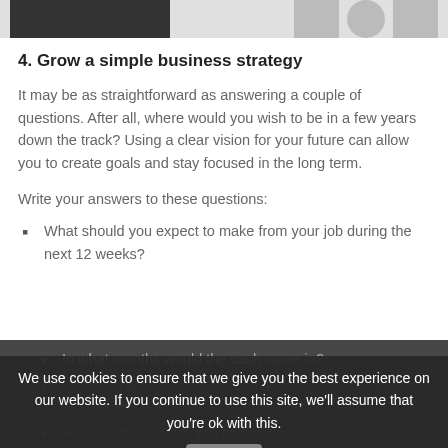[Figure (photo): Top image strip showing partial images - a dark rectangular image on the left and circular/square thumbnail images on the right]
4. Grow a simple business strategy
It may be as straightforward as answering a couple of questions. After all, where would you wish to be in a few years down the track? Using a clear vision for your future can allow you to create goals and stay focused in the long term.
Write your answers to these questions:
What should you expect to make from your job during the next 12 weeks?
In what months would the cash come in?
How long would it take to build a clientele to allow you to truly your fees? (continued)
How much work are you going to will need to make so as to sell that sum?
We use cookies to ensure that we give you the best experience on our website. If you continue to use this site, we'll assume that you're ok with this.